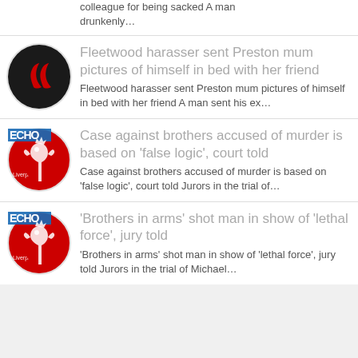colleague for being sacked A man drunkenly…
[Figure (logo): Black circle with two red flame/leaf shapes]
Fleetwood harasser sent Preston mum pictures of himself in bed with her friend
Fleetwood harasser sent Preston mum pictures of himself in bed with her friend A man sent his ex…
[Figure (logo): Liverpool Echo logo - red circle with Liver bird and ECHO text]
Case against brothers accused of murder is based on 'false logic', court told
Case against brothers accused of murder is based on 'false logic', court told Jurors in the trial of…
[Figure (logo): Liverpool Echo logo - red circle with Liver bird and ECHO text]
'Brothers in arms' shot man in show of 'lethal force', jury told
'Brothers in arms' shot man in show of 'lethal force', jury told Jurors in the trial of Michael…